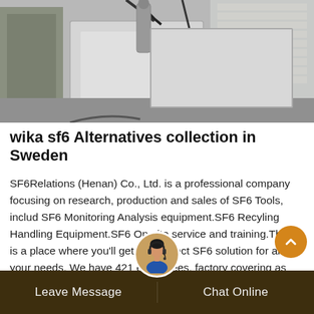[Figure (photo): Outdoor industrial machinery or SF6 equipment, gray/white large devices on a concrete surface]
wika sf6 Alternatives collection in Sweden
SF6Relations (Henan) Co., Ltd. is a professional company focusing on research, production and sales of SF6 Tools, includ SF6 Monitoring Analysis equipment.SF6 Recyling Handling Equipment.SF6 On-site service and training.There is a place where you'll get the Perfect SF6 solution for all your needs. We have 421 employees, factory covering as large as 4000 Sq. meters, and sales office in Henan Zhengzhou.
Leave Message   Chat Online